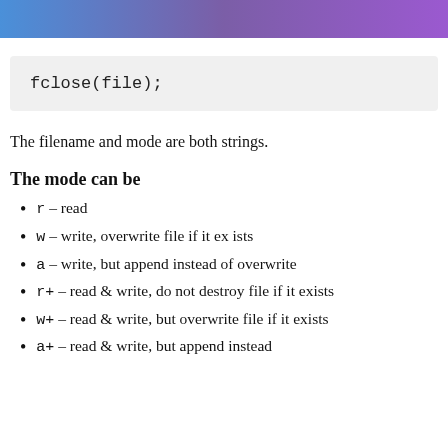[Figure (other): Blue to purple gradient banner header]
fclose(file);
The filename and mode are both strings.
The mode can be
r – read
w – write, overwrite file if it exists
a – write, but append instead of overwrite
r+ – read & write, do not destroy file if it exists
w+ – read & write, but overwrite file if it exists
a+ – read & write, but append instead